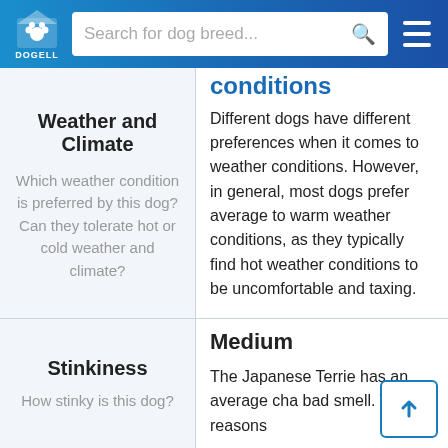DOGELL | Search for dog breed...
conditions
Different dogs have different preferences when it comes to weather conditions. However, in general, most dogs prefer average to warm weather conditions, as they typically find hot weather conditions to be uncomfortable and taxing.
Weather and Climate
Which weather condition is preferred by this dog? Can they tolerate hot or cold weather and climate?
Medium
Stinkiness
How stinky is this dog?
The Japanese Terrie has an average cha bad smell. Top reasons